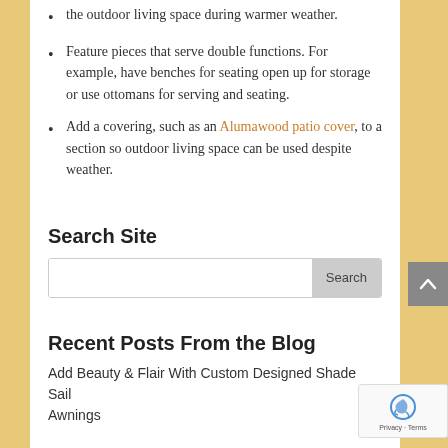the outdoor living space during warmer weather.
Feature pieces that serve double functions. For example, have benches for seating open up for storage or use ottomans for serving and seating.
Add a covering, such as an Alumawood patio cover, to a section so outdoor living space can be used despite weather.
Search Site
Recent Posts From the Blog
Add Beauty & Flair With Custom Designed Shade Sail Awnings